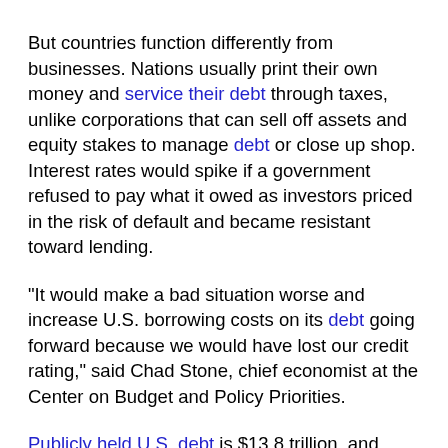But countries function differently from businesses. Nations usually print their own money and service their debt through taxes, unlike corporations that can sell off assets and equity stakes to manage debt or close up shop. Interest rates would spike if a government refused to pay what it owed as investors priced in the risk of default and became resistant toward lending.
"It would make a bad situation worse and increase U.S. borrowing costs on its debt going forward because we would have lost our credit rating," said Chad Stone, chief economist at the Center on Budget and Policy Priorities.
Publicly held U.S. debt is $13.8 trillion, and taxpayers will devote likely $255 billion to interest payments this year. The market largely sets interest rates on the debt, based in part on Federal Reserve policy.